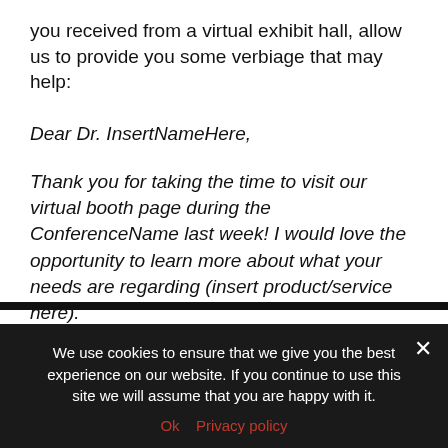you received from a virtual exhibit hall, allow us to provide you some verbiage that may help:
Dear Dr. InsertNameHere,
Thank you for taking the time to visit our virtual booth page during the ConferenceName last week! I would love the opportunity to learn more about what your needs are regarding (insert product/service here).
Don't forget – we offered a great show
We use cookies to ensure that we give you the best experience on our website. If you continue to use this site we will assume that you are happy with it.
Ok  Privacy policy